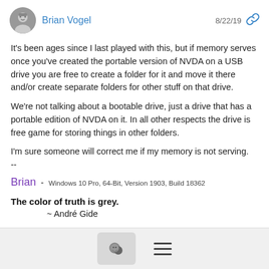Brian Vogel   8/22/19
It's been ages since I last played with this, but if memory serves once you've created the portable version of NVDA on a USB drive you are free to create a folder for it and move it there and/or create separate folders for other stuff on that drive.
We're not talking about a bootable drive, just a drive that has a portable edition of NVDA on it.   In all other respects the drive is free game for storing things in other folders.
I'm sure someone will correct me if my memory is not serving.
--
Brian - Windows 10 Pro, 64-Bit, Version 1903, Build 18362
The color of truth is grey.
~ André Gide